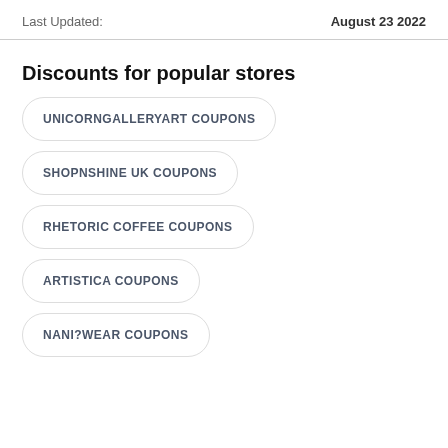Last Updated: August 23 2022
Discounts for popular stores
UNICORNGALLERYART COUPONS
SHOPNSHINE UK COUPONS
RHETORIC COFFEE COUPONS
ARTISTICA COUPONS
NANI?WEAR COUPONS